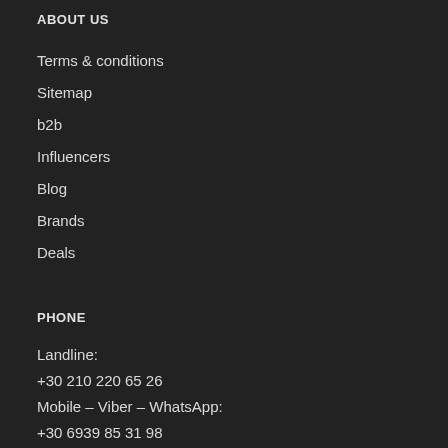ABOUT US
Terms & conditions
Sitemap
b2b
Influencers
Blog
Brands
Deals
PHONE
Landline:
+30 210 220 65 26
Mobile – Viber – WhatsApp:
+30 6939 85 31 98